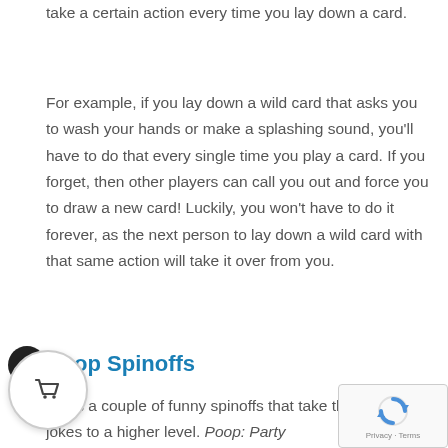take a certain action every time you lay down a card.
For example, if you lay down a wild card that asks you to wash your hands or make a splashing sound, you'll have to do that every single time you play a card. If you forget, then other players can call you out and force you to draw a new card! Luckily, you won't have to do it forever, as the next person to lay down a wild card with that same action will take it over from you.
Poop Spinoffs
p has a couple of funny spinoffs that take the poop jokes to a higher level. Poop: Party